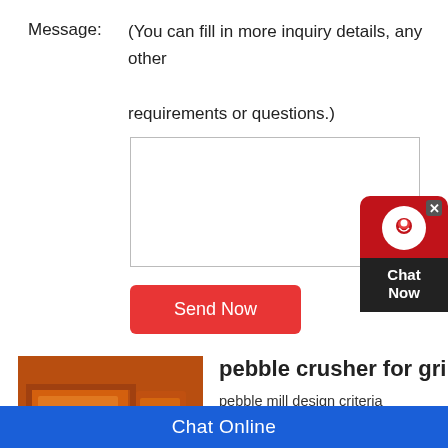Message: (You can fill in more inquiry details, any other requirements or questions.)
[Figure (screenshot): Empty textarea input box for message]
Send Now
[Figure (photo): Orange industrial pebble crusher machine]
pebble crusher for grind...
pebble mill design criteria mangane... Get the price of pebble mill design c... provide cone crusehr, jaw crusher, g... mill. Read more. Secondary crushin...
[Figure (infographic): Chat Now customer service widget on the right side]
Chat Online